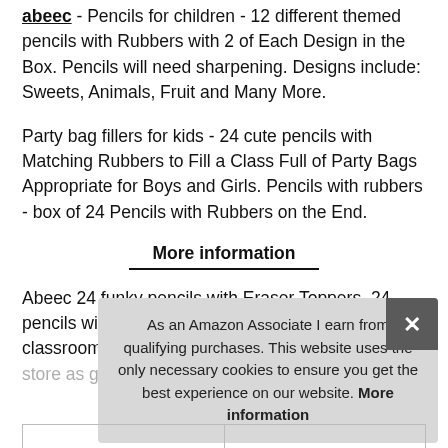abeec - Pencils for children - 12 different themed pencils with Rubbers with 2 of Each Design in the Box. Pencils will need sharpening. Designs include: Sweets, Animals, Fruit and Many More.
Party bag fillers for kids - 24 cute pencils with Matching Rubbers to Fill a Class Full of Party Bags Appropriate for Boys and Girls. Pencils with rubbers - box of 24 Pencils with Rubbers on the End.
More information
Abeec 24 funky pencils with Eraser Toppers. 24 pencils with Rubbers. Class gifts - ideal as classroom presents, use as part[y bag fillers] and [more...]
As an Amazon Associate I earn from qualifying purchases. This website uses the only necessary cookies to ensure you get the best experience on our website. More information